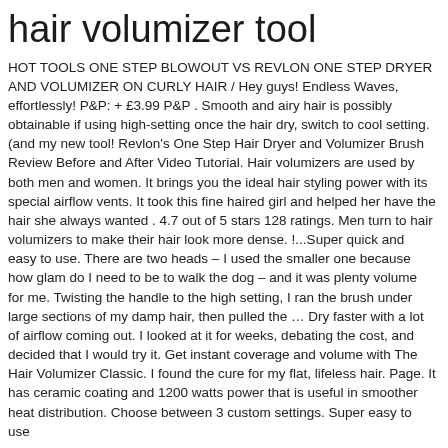hair volumizer tool
HOT TOOLS ONE STEP BLOWOUT VS REVLON ONE STEP DRYER AND VOLUMIZER ON CURLY HAIR / Hey guys! Endless Waves, effortlessly! P&P: + £3.99 P&P . Smooth and airy hair is possibly obtainable if using high-setting once the hair dry, switch to cool setting. (and my new tool! Revlon's One Step Hair Dryer and Volumizer Brush Review Before and After Video Tutorial. Hair volumizers are used by both men and women. It brings you the ideal hair styling power with its special airflow vents. It took this fine haired girl and helped her have the hair she always wanted . 4.7 out of 5 stars 128 ratings. Men turn to hair volumizers to make their hair look more dense. !...Super quick and easy to use. There are two heads – I used the smaller one because how glam do I need to be to walk the dog – and it was plenty volume for me. Twisting the handle to the high setting, I ran the brush under large sections of my damp hair, then pulled the … Dry faster with a lot of airflow coming out. I looked at it for weeks, debating the cost, and decided that I would try it. Get instant coverage and volume with The Hair Volumizer Classic. I found the cure for my flat, lifeless hair. Page. It has ceramic coating and 1200 watts power that is useful in smoother heat distribution. Choose between 3 custom settings. Super easy to use